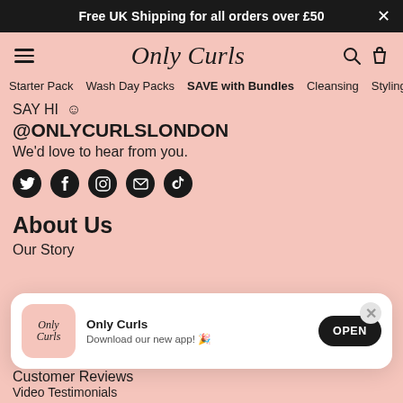Free UK Shipping for all orders over £50
Only Curls
Starter Pack  Wash Day Packs  SAVE with Bundles  Cleansing  Styling  Fra
SAY HI 🙂
@ONLYCURLSLONDON
We'd love to hear from you.
[Figure (infographic): Social media icons row: Twitter, Facebook, Instagram, Email, TikTok]
About Us
Our Story
[Figure (infographic): App download popup: Only Curls logo, text 'Only Curls - Download our new app!' and OPEN button]
Customer Reviews
Video Testimonials